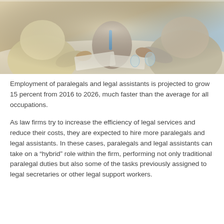[Figure (photo): Photo of people sitting at a table in a meeting or legal consultation setting, with hands visible over documents and glasses of water, warm and cool tones.]
Employment of paralegals and legal assistants is projected to grow 15 percent from 2016 to 2026, much faster than the average for all occupations.
As law firms try to increase the efficiency of legal services and reduce their costs, they are expected to hire more paralegals and legal assistants. In these cases, paralegals and legal assistants can take on a “hybrid” role within the firm, performing not only traditional paralegal duties but also some of the tasks previously assigned to legal secretaries or other legal support workers.